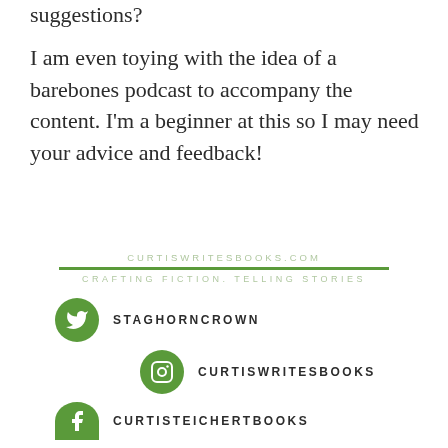suggestions?
I am even toying with the idea of a barebones podcast to accompany the content. I'm a beginner at this so I may need your advice and feedback!
CURTISWRITESBOOKS.COM
CRAFTING FICTION. TELLING STORIES
STAGHORNCROWN
CURTISWRITESBOOKS
CURTISTEICHERTBOOKS